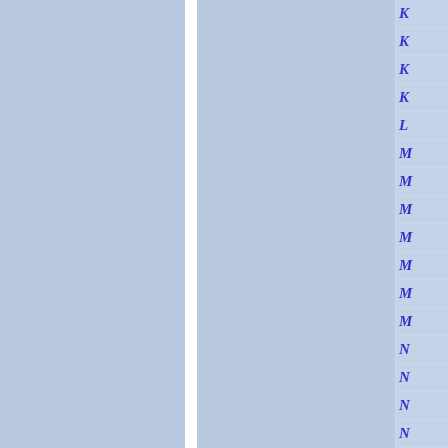[Figure (other): Index/navigation panel showing alphabetical entries starting with K, K, K, K, L, M, M, M, M, M, M, M, N, N, N, N in italic blue bold text on a light blue background, arranged in a vertical list with white dividing lines between rows. The left portion shows two blue-grey columns separated by a white vertical divider.]